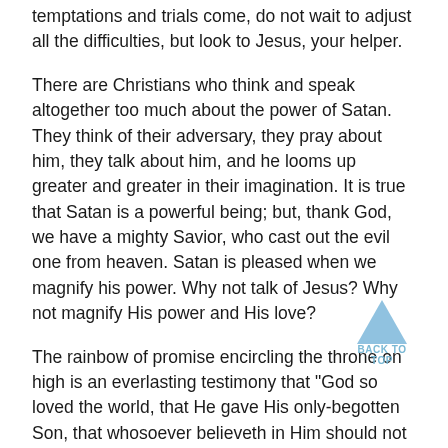temptations and trials come, do not wait to adjust all the difficulties, but look to Jesus, your helper.
There are Christians who think and speak altogether too much about the power of Satan. They think of their adversary, they pray about him, they talk about him, and he looms up greater and greater in their imagination. It is true that Satan is a powerful being; but, thank God, we have a mighty Savior, who cast out the evil one from heaven. Satan is pleased when we magnify his power. Why not talk of Jesus? Why not magnify His power and His love?
The rainbow of promise encircling the throne on high is an everlasting testimony that "God so loved the world, that He gave His only-begotten Son, that whosoever believeth in Him should not perish, but have everlasting life." John 3:16. It testifies to the universe that God will never forsake His people in their struggle with evil. It is an assurance to us of strength and protection as long as the